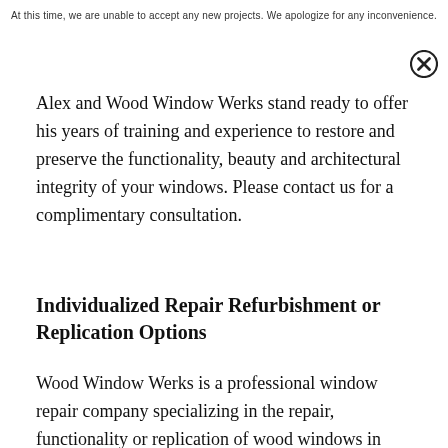At this time, we are unable to accept any new projects.  We apologize for any inconvenience.
[Figure (other): Close/dismiss button (circled X icon) in upper right corner]
Alex and Wood Window Werks stand ready to offer his years of training and experience to restore and preserve the functionality, beauty and architectural integrity of your windows.  Please contact us  for a complimentary consultation.
Individualized Repair Refurbishment or Replication Options
Wood Window Werks is a professional window repair company specializing in the repair, functionality or replication of wood windows in older or historic homes. Using the timeless woodworking techniques of old-world craftsmen, we strive to salvage and restore your beautiful antique windows, returning them to full workability. Most